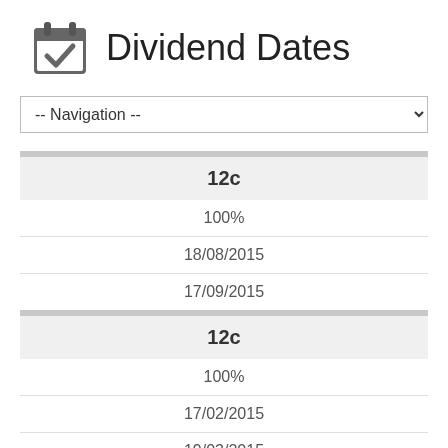Dividend Dates
| 12c |
| 100% |
| 18/08/2015 |
| 17/09/2015 |
| 12c |
| 100% |
| 17/02/2015 |
| 19/03/2015 |
| 12c |